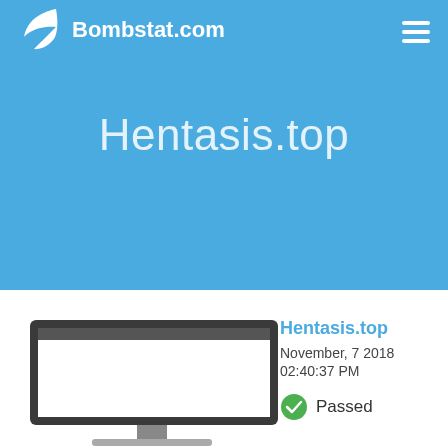Bombstat.com
Hentasis.top
[Figure (screenshot): Laptop/monitor frame showing a white screen preview of a website]
Hentasis.top
November, 7 2018
02:40:37 PM
Passed